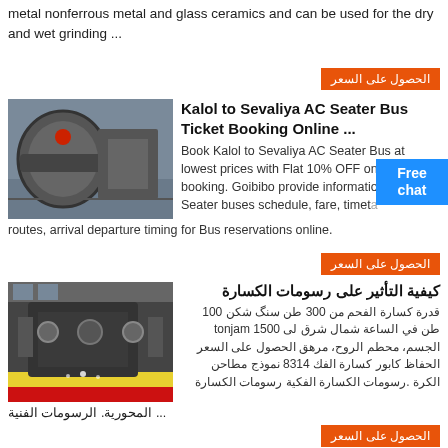metal nonferrous metal and glass ceramics and can be used for the dry and wet grinding ...
الحصول على السعر
Kalol to Sevaliya AC Seater Bus Ticket Booking Online ...
[Figure (photo): Industrial ball mill machine in a factory setting]
Book Kalol to Sevaliya AC Seater Bus at lowest prices with Flat 10% OFF on ticket booking. Goibibo provide information about AC Seater buses schedule, fare, timetable, routes, arrival departure timing for Bus reservations online.
Free chat
الحصول على السعر
كيفية التأثير على رسومات الكسارة
[Figure (photo): Large industrial crusher machine]
قدرة كسارة الفحم من 300 طن سنگ شکن 100 طن في الساعة شمال شرق لى 1500 tonjam الجسم، محطم الروح، مرهق الحصول على السعر الحفاظ كابور كسارة الفك 8314 نموذج مطاحن الكرة .رسومات الكسارة الفكية رسومات الكسارة
... المحورية. الرسومات الفنية
الحصول على السعر